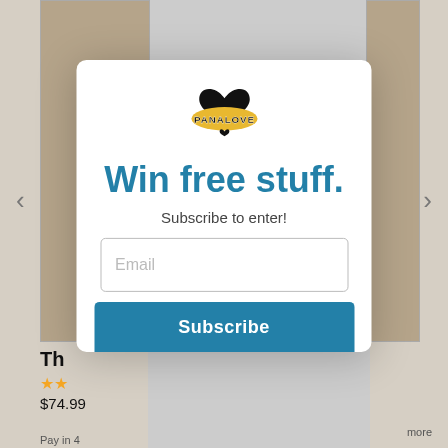[Figure (screenshot): Background e-commerce product page partially visible, showing a product image, navigation arrows, star rating, price $74.99, and partial product text. A modal popup overlays the center.]
[Figure (logo): Panalove logo: black heart shape above a gold/yellow oval badge with 'PANALOVE' text in black and white block letters, and a small heart-shaped pointer below the oval.]
Win free stuff.
Subscribe to enter!
Email
Subscribe